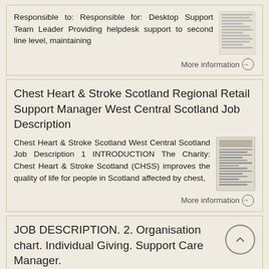Responsible to: Responsible for: Desktop Support Team Leader Providing helpdesk support to second line level, maintaining
More information →
Chest Heart & Stroke Scotland Regional Retail Support Manager West Central Scotland Job Description
Chest Heart & Stroke Scotland West Central Scotland Job Description 1 INTRODUCTION The Charity: Chest Heart & Stroke Scotland (CHSS) improves the quality of life for people in Scotland affected by chest,
More information →
JOB DESCRIPTION. 2. Organisation chart. Individual Giving. Support Care Manager.